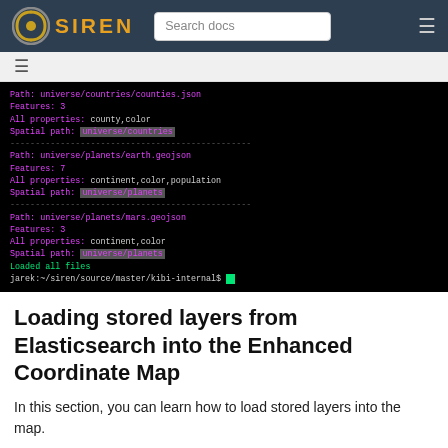SIREN — Search docs
[Figure (screenshot): Terminal output showing file loading: Path: universe/countries/counties.json, Features: 3, All properties: county,color, Spatial path: universe/countries; Path: universe/planets/earth.geojson, Features: 7, All properties: continent,color,population, Spatial path: universe/planets; Path: universe/planets/mars.geojson, Features: 3, All properties: continent,color, Spatial path: universe/planets; Loaded all files; jarek:~/siren/source/master/kibi-internal$]
Loading stored layers from Elasticsearch into the Enhanced Coordinate Map
In this section, you can learn how to load stored layers into the map.
NOTE